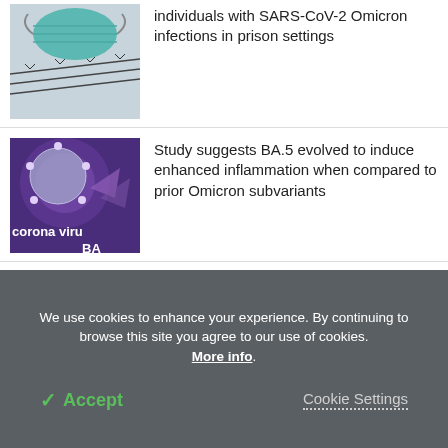[Figure (photo): Photo of a face mask hanging on barbed wire fence, suggesting prison or detention setting]
individuals with SARS-CoV-2 Omicron infections in prison settings
[Figure (photo): Purple-toned image of coronavirus with text 'corona viru' and 'BA' overlaid, representing BA.5 variant]
Study suggests BA.5 evolved to induce enhanced inflammation when compared to prior Omicron subvariants
How common is chronic fatigue syndrome among patients with long COVID-19?
We use cookies to enhance your experience. By continuing to browse this site you agree to our use of cookies. More info.